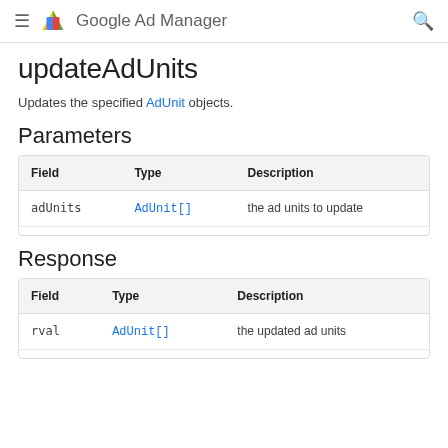Google Ad Manager
updateAdUnits
Updates the specified AdUnit objects.
Parameters
| Field | Type | Description |
| --- | --- | --- |
| adUnits | AdUnit[] | the ad units to update |
Response
| Field | Type | Description |
| --- | --- | --- |
| rval | AdUnit[] | the updated ad units |